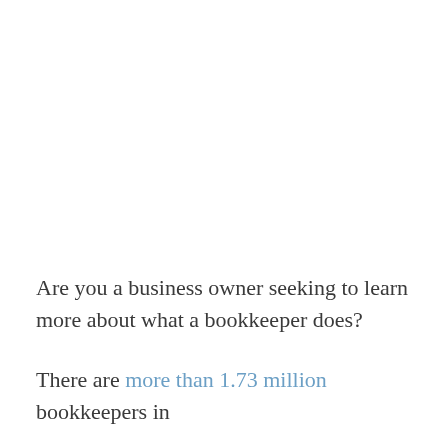Are you a business owner seeking to learn more about what a bookkeeper does?
There are more than 1.73 million bookkeepers in